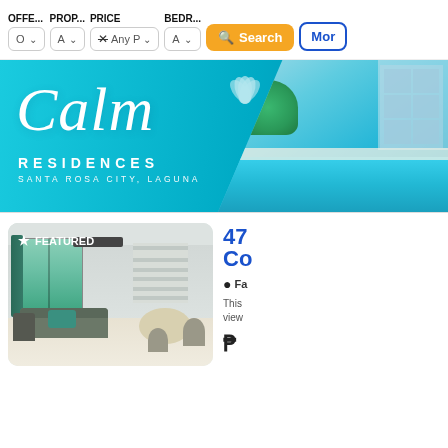[Figure (screenshot): Real estate website filter bar with dropdowns for OFFE..., PROP..., PRICE (Any P with X/clear), BEDR..., and an orange Search button and blue More button]
[Figure (photo): Advertisement banner for Calm Residences, Santa Rosa City, Laguna, with teal background, cursive Calm logo, pool area and building in background]
[Figure (photo): Featured property listing photo showing a bright modern living/dining room interior with teal curtains, sofa, dining table and chairs, and large windows]
47
Co
Fa
This view
₱